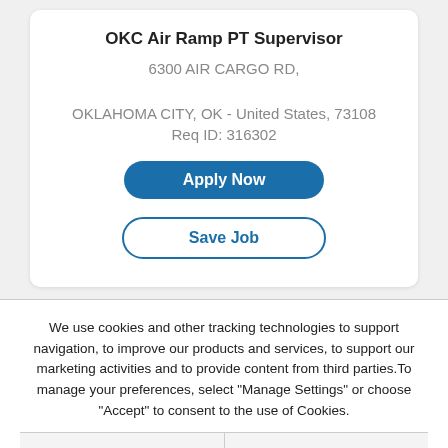OKC Air Ramp PT Supervisor
6300 AIR CARGO RD,
OKLAHOMA CITY, OK - United States, 73108
Req ID: 316302
Apply Now
Save Job
We use cookies and other tracking technologies to support navigation, to improve our products and services, to support our marketing activities and to provide content from third parties.To manage your preferences, select "Manage Settings" or choose "Accept" to consent to the use of Cookies.
Accept
Manage Settings